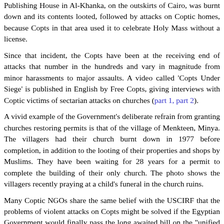Publishing House in Al-Khanka, on the outskirts of Cairo, was burnt down and its contents looted, followed by attacks on Coptic homes, because Copts in that area used it to celebrate Holy Mass without a license.
Since that incident, the Copts have been at the receiving end of attacks that number in the hundreds and vary in magnitude from minor harassments to major assaults. A video called 'Copts Under Siege' is published in English by Free Copts, giving interviews with Coptic victims of sectarian attacks on churches (part 1, part 2).
A vivid example of the Government's deliberate refrain from granting churches restoring permits is that of the village of Menkteen, Minya. The villagers had their church burnt down in 1977 before completion, in addition to the looting of their properties and shops by Muslims. They have been waiting for 28 years for a permit to complete the building of their only church. The photo shows the villagers recently praying at a child's funeral in the church ruins.
Many Coptic NGOs share the same belief with the USCIRF that the problems of violent attacks on Copts might be solved if the Egyptian Government would finally pass the long awaited bill on the "unified law for building places of worship," which would put an end to all problems related to building and